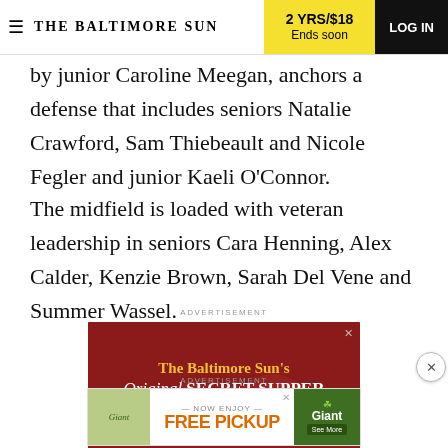THE BALTIMORE SUN | 2 YRS/$18 Ends soon | LOG IN
by junior Caroline Meegan, anchors a defense that includes seniors Natalie Crawford, Sam Thiebeault and Nicole Fegler and junior Kaeli O'Connor.
The midfield is loaded with veteran leadership in seniors Cara Henning, Alex Calder, Kenzie Brown, Sarah Del Vene and Summer Wassel.
ADVERTISEMENT
[Figure (illustration): The Baltimore Sun's Original SECRET SUPPER series is BACK! - advertisement banner on dark red background]
ADVERTISEMENT
[Figure (illustration): Giant grocery store FREE PICKUP advertisement]